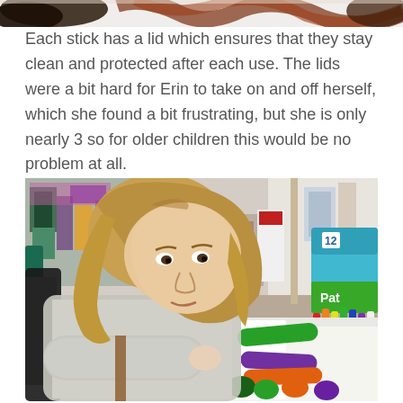[Figure (photo): Partial top image showing colorful items, partially cropped at top of page]
Each stick has a lid which ensures that they stay clean and protected after each use. The lids were a bit hard for Erin to take on and off herself, which she found a bit frustrating, but she is only nearly 3 so for older children this would be no problem at all.
[Figure (photo): A young girl with long blonde hair wearing a grey long-sleeve shirt sits at a white table, using colorful paint sticks on paper. A box of 12 paint sticks (Pati brand) is visible in the upper right. The background shows a colorful and busy room with shelves and art supplies.]